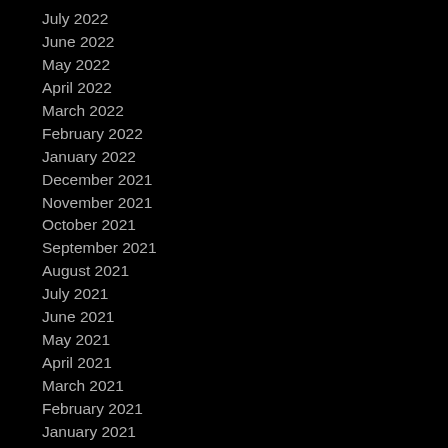July 2022
June 2022
May 2022
April 2022
March 2022
February 2022
January 2022
December 2021
November 2021
October 2021
September 2021
August 2021
July 2021
June 2021
May 2021
April 2021
March 2021
February 2021
January 2021
December 2020
November 2020
October 2020
September 2020
August 2020